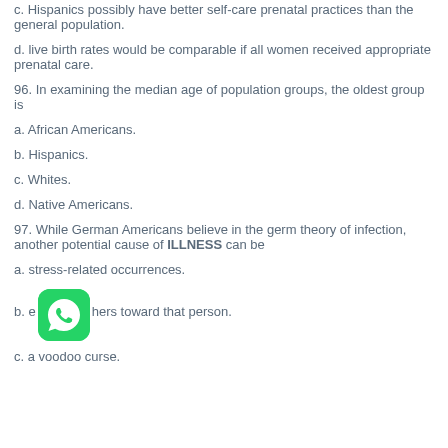c. Hispanics possibly have better self-care prenatal practices than the general population.
d. live birth rates would be comparable if all women received appropriate prenatal care.
96. In examining the median age of population groups, the oldest group is
a. African Americans.
b. Hispanics.
c. Whites.
d. Native Americans.
97. While German Americans believe in the germ theory of infection, another potential cause of ILLNESS can be
a. stress-related occurrences.
b. e[WhatsApp icon]hers toward that person.
c. a voodoo curse.